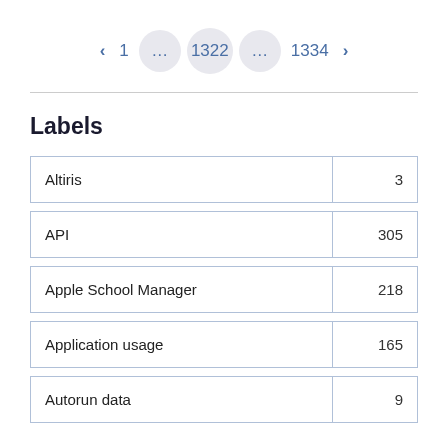< 1 ... 1322 ... 1334 >
Labels
|  |  |
| --- | --- |
| Altiris | 3 |
| API | 305 |
| Apple School Manager | 218 |
| Application usage | 165 |
| Autorun data | 9 |